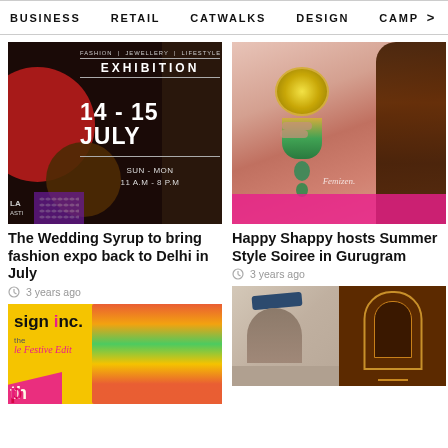BUSINESS   RETAIL   CATWALKS   DESIGN   CAMP >
[Figure (photo): Fashion exhibition promotional banner showing 14-15 July SUN-MON 11AM-8PM with red circles on dark background]
[Figure (photo): Close-up of woman wearing large ornate gold and emerald chandelier earrings, pink top, Femizen watermark]
The Wedding Syrup to bring fashion expo back to Delhi in July
3 years ago
Happy Shappy hosts Summer Style Soiree in Gurugram
3 years ago
[Figure (photo): Sign Inc. The Festive Edit promotional banner with colorful model wearing turban]
[Figure (photo): Two-panel social event photo: woman in hat at restaurant on left, dark architectural interior with arch on right]